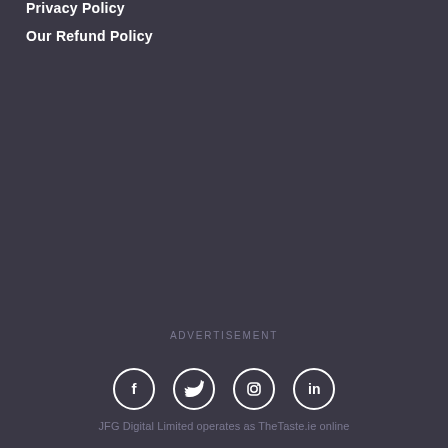Privacy Policy
Our Refund Policy
ADVERTISEMENT
[Figure (other): Social media icons: Facebook, Twitter, Instagram, LinkedIn — white circles with icons]
JFG Digital Limited operates as TheTaste.ie online